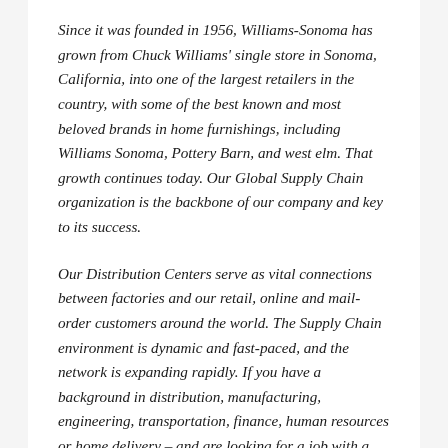Since it was founded in 1956, Williams-Sonoma has grown from Chuck Williams' single store in Sonoma, California, into one of the largest retailers in the country, with some of the best known and most beloved brands in home furnishings, including Williams Sonoma, Pottery Barn, and west elm. That growth continues today. Our Global Supply Chain organization is the backbone of our company and key to its success.
Our Distribution Centers serve as vital connections between factories and our retail, online and mail-order customers around the world. The Supply Chain environment is dynamic and fast-paced, and the network is expanding rapidly. If you have a background in distribution, manufacturing, engineering, transportation, finance, human resources or home delivery – and are looking for a job with a strong opportunity for gaining new skills and for advancement – our Supply Chain Organization is just the place for you.